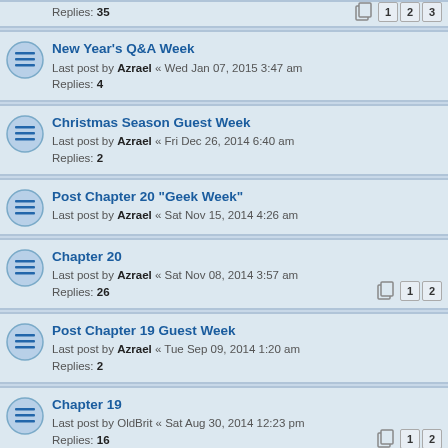Replies: 35 [pages 1 2 3]
New Year's Q&A Week
Last post by Azrael « Wed Jan 07, 2015 3:47 am
Replies: 4
Christmas Season Guest Week
Last post by Azrael « Fri Dec 26, 2014 6:40 am
Replies: 2
Post Chapter 20 "Geek Week"
Last post by Azrael « Sat Nov 15, 2014 4:26 am
Chapter 20
Last post by Azrael « Sat Nov 08, 2014 3:57 am
Replies: 26 [pages 1 2]
Post Chapter 19 Guest Week
Last post by Azrael « Tue Sep 09, 2014 1:20 am
Replies: 2
Chapter 19
Last post by OldBrit « Sat Aug 30, 2014 12:23 pm
Replies: 16 [pages 1 2]
Chapter 18
Last post by Azrael « Thu Jul 24, 2014 6:16 am
Replies: 34 [pages 1 2 3]
Post Chapter 17 Guest Week
Last post by Azrael « Tue Apr 29, 2014 2:17 am
Chapter 17